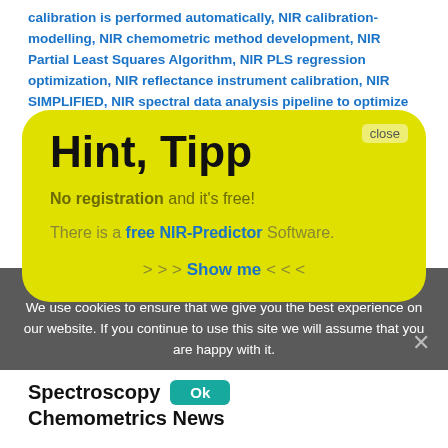calibration is performed automatically, NIR calibration-modelling, NIR chemometric method development, NIR Partial Least Squares Algorithm, NIR PLS regression optimization, NIR reflectance instrument calibration, NIR SIMPLIFIED, NIR spectral data analysis pipeline to optimize models, NIR spectral data cleaning, NIR spectral data cleansing, NIR spectral regression
[Figure (screenshot): Yellow modal tooltip overlay with 'Hint, Tipp' title, 'No registration and it's free!' subtitle, 'There is a free NIR-Predictor Software.' text, '>>> Show me <<<' call-to-action, and a close button.]
Chemometric software
We use cookies to ensure that we give you the best experience on our website. If you continue to use this site we will assume that you are happy with it.
Spectroscopy
Chemometrics News